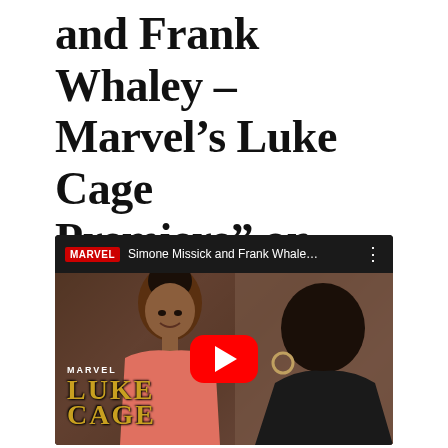and Frank Whaley – Marvel's Luke Cage Premiere" on YouTube
[Figure (screenshot): YouTube video thumbnail showing Marvel's Luke Cage premiere video titled 'Simone Missick and Frank Whale...' with a smiling woman in a pink dress in the foreground, Luke Cage logo at bottom left, and a red YouTube play button in the center.]